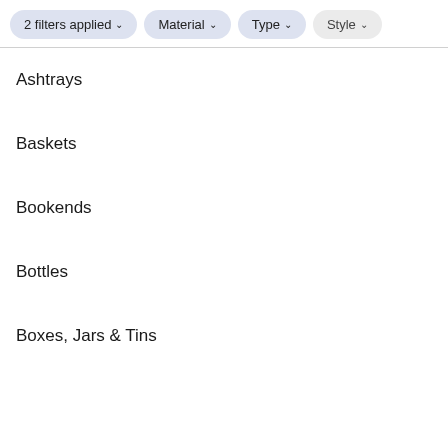2 filters applied  Material  Type  Style
Ashtrays
Baskets
Bookends
Bottles
Boxes, Jars & Tins